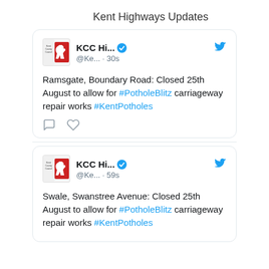Kent Highways Updates
[Figure (screenshot): Tweet card from KCC Highways account. Header: KCC Hi... with verified badge and Twitter bird icon. Handle: @Ke... · 30s. Body: Ramsgate, Boundary Road: Closed 25th August to allow for #PotholeBlitz carriageway repair works #KentPotholes. Action icons: comment and like.]
[Figure (screenshot): Tweet card from KCC Highways account. Header: KCC Hi... with verified badge and Twitter bird icon. Handle: @Ke... · 59s. Body: Swale, Swanstree Avenue: Closed 25th August to allow for #PotholeBlitz carriageway repair works #KentPotholes.]